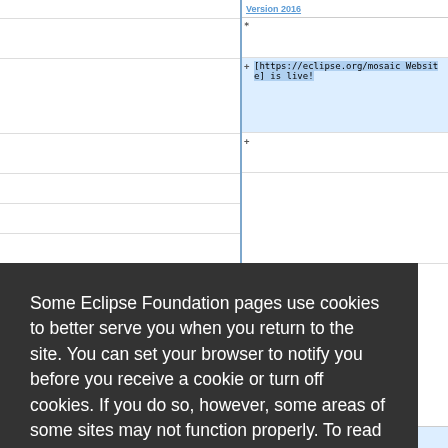[Figure (screenshot): Background showing a diff/code view with two panels. The right panel shows diff lines including a '*' line and a '+[https://eclipse.org/mosaic Website] is live!' added line highlighted in blue, and an empty '+' line below.]
Some Eclipse Foundation pages use cookies to better serve you when you return to the site. You can set your browser to notify you before you receive a cookie or turn off cookies. If you do so, however, some areas of some sites may not function properly. To read Eclipse Foundation Privacy Policy
click here.
Decline
Allow cookies